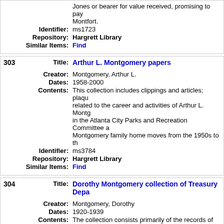Jones or bearer for value received, promising to pay Montfort.
Identifier: ms1723
Repository: Hargrett Library
Similar Items: Find
303
Title: Arthur L. Montgomery papers
Creator: Montgomery, Arthur L.
Dates: 1958-2000
Contents: This collection includes clippings and articles; plaques related to the career and activities of Arthur L. Montgomery in the Atlanta City Parks and Recreation Committee and Montgomery family home moves from the 1950s to th
Identifier: ms3784
Repository: Hargrett Library
Similar Items: Find
304
Title: Dorothy Montgomery collection of Treasury Depa
Creator: Montgomery, Dorothy
Dates: 1920-1939
Contents: The collection consists primarily of the records of tax Service. Included are summaries of their work, corre included is a record of the United States of America dating from 1939.
Identifier: ms3